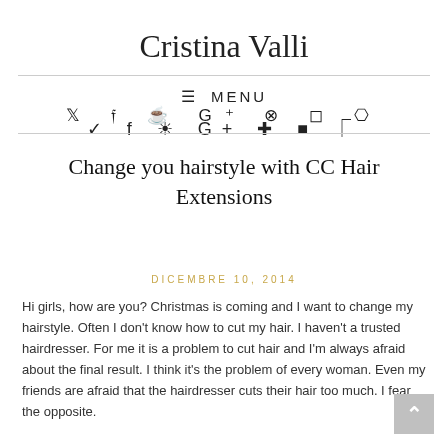Cristina Valli
≡ MENU
♥ f ⌂ G+ ⊕ ▦ )))
Change you hairstyle with CC Hair Extensions
DICEMBRE 10, 2014
Hi girls, how are you? Christmas is coming and I want to change my hairstyle. Often I don't know how to cut my hair. I haven't a trusted hairdresser. For me it is a problem to cut hair and I'm always afraid about the final result. I think it's the problem of every woman. Even my friends are afraid that the hairdresser cuts their hair too much. I fear the opposite.